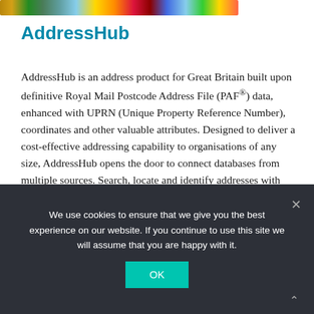[Figure (photo): Colorful landscape/nature banner image strip at top of page]
AddressHub
AddressHub is an address product for Great Britain built upon definitive Royal Mail Postcode Address File (PAF®) data, enhanced with UPRN (Unique Property Reference Number), coordinates and other valuable attributes. Designed to deliver a cost-effective addressing capability to organisations of any size, AddressHub opens the door to connect databases from multiple sources. Search, locate and identify addresses with ease and precision.
ADDRESSHUB
We use cookies to ensure that we give you the best experience on our website. If you continue to use this site we will assume that you are happy with it.
OK